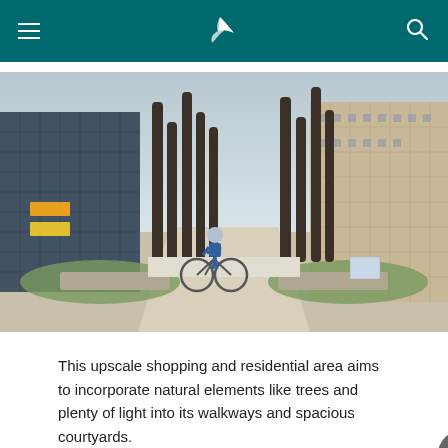Cathay Pacific navigation header with menu, logo, and search
[Figure (photo): A child riding a bicycle through an outdoor public plaza featuring tall dark cylindrical pillars/bollards arranged in rows on both sides, with modern commercial buildings visible in the background. Green lawns and paved pathways are visible. The scene appears to be in a Chinese city.]
This upscale shopping and residential area aims to incorporate natural elements like trees and plenty of light into its walkways and spacious courtyards.